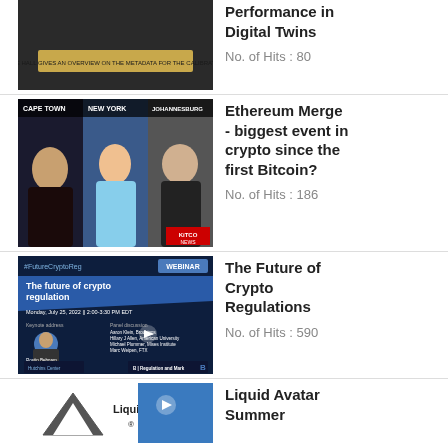[Figure (screenshot): Thumbnail of a video about Digital Twins performance]
Performance in Digital Twins
No. of Hits : 80
[Figure (screenshot): Kitco News video thumbnail showing three panelists from Cape Town, New York, and Johannesburg discussing Ethereum Merge]
Ethereum Merge - biggest event in crypto since the first Bitcoin?
No. of Hits : 186
[Figure (screenshot): Webinar thumbnail: The future of crypto regulation, Monday July 25 2022, 2:00-3:30 PM EDT, featuring Rostin Behnam, Chairman, Commodity Futures Trading Commission]
The Future of Crypto Regulations
No. of Hits : 590
[Figure (screenshot): Liquid Avatar logo thumbnail]
Liquid Avatar Summer